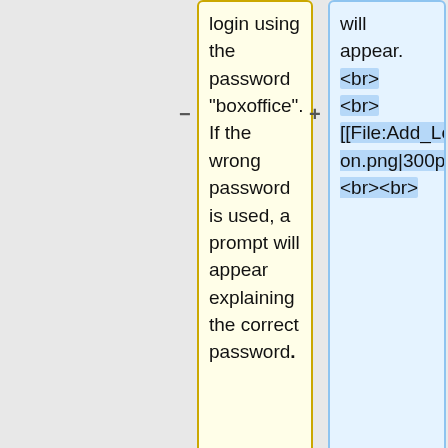login using the password "boxoffice". If the wrong password is used, a prompt will appear explaining the correct password.
will appear.<br><br>[[File:Add_Location.png|300px]]<br><br>
#Check off '"Enable Multiple Servers", found in the bottom right corner.
#To connect to RTS outside of the network, you will need your RTN number. This can be found under